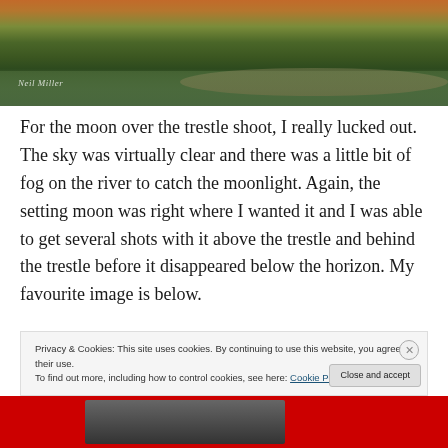[Figure (photo): Landscape photo of a trestle/bridge area near a river at dusk/dawn, with green grassy banks, water reflecting warm sunset colors, and trees visible. Photographer watermark 'Neil Miller' in bottom left.]
For the moon over the trestle shoot, I really lucked out. The sky was virtually clear and there was a little bit of fog on the river to catch the moonlight. Again, the setting moon was right where I wanted it and I was able to get several shots with it above the trestle and behind the trestle before it disappeared below the horizon. My favourite image is below.
Privacy & Cookies: This site uses cookies. By continuing to use this website, you agree to their use.
To find out more, including how to control cookies, see here: Cookie Policy
Close and accept